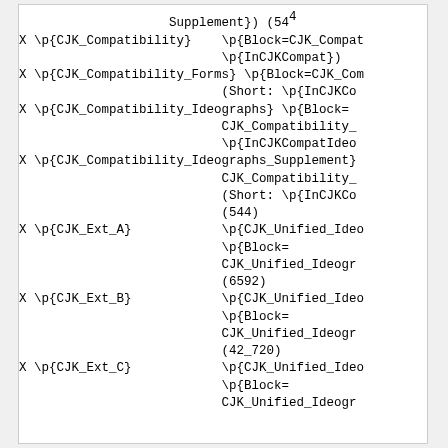Supplement}) (544
X \p{CJK_Compatibility}    \p{Block=CJK_Compa
                           \p{InCJKCompat})
X \p{CJK_Compatibility_Forms} \p{Block=CJK_Co
                           (Short: \p{InCJKC
X \p{CJK_Compatibility_Ideographs} \p{Block=
                           CJK_Compatibility
                           \p{InCJKCompatIde
X \p{CJK_Compatibility_Ideographs_Supplement}
                           CJK_Compatibility
                           (Short: \p{InCJKC
                           (544)
X \p{CJK_Ext_A}            \p{CJK_Unified_Ide
                           \p{Block=
                           CJK_Unified_Ideog
                           (6592)
X \p{CJK_Ext_B}            \p{CJK_Unified_Ide
                           \p{Block=
                           CJK_Unified_Ideog
                           (42_720)
X \p{CJK_Ext_C}            \p{CJK_Unified_Ide
                           \p{Block=
                           CJK_Unified_Ideog